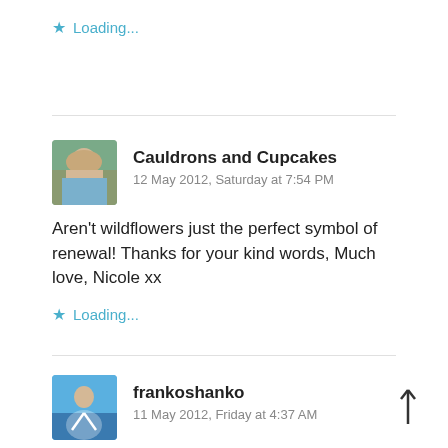Loading...
Cauldrons and Cupcakes
12 May 2012, Saturday at 7:54 PM
Aren't wildflowers just the perfect symbol of renewal! Thanks for your kind words, Much love, Nicole xx
Loading...
frankoshanko
11 May 2012, Friday at 4:37 AM